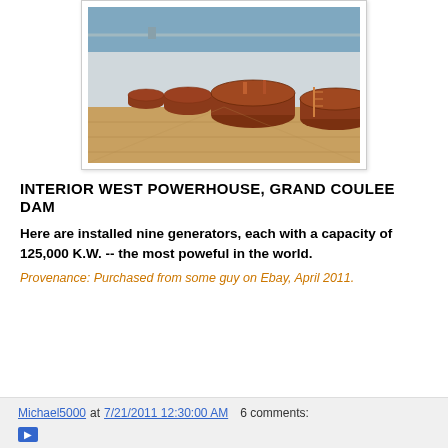[Figure (photo): Interior of West Powerhouse at Grand Coulee Dam, showing large red/brown turbine generator housings in a row along a wooden floor inside a large industrial building with white walls and blue ceiling.]
INTERIOR WEST POWERHOUSE, GRAND COULEE DAM
Here are installed nine generators, each with a capacity of 125,000 K.W. -- the most poweful in the world.
Provenance: Purchased from some guy on Ebay, April 2011.
Michael5000 at 7/21/2011 12:30:00 AM   6 comments: